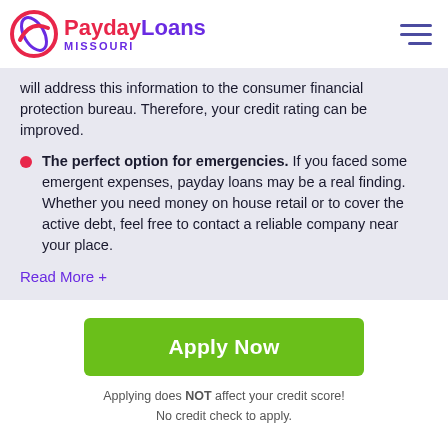PaydayLoans MISSOURI
will address this information to the consumer financial protection bureau. Therefore, your credit rating can be improved.
The perfect option for emergencies. If you faced some emergent expenses, payday loans may be a real finding. Whether you need money on house retail or to cover the active debt, feel free to contact a reliable company near your place.
Read More +
Apply Now
Applying does NOT affect your credit score!
No credit check to apply.